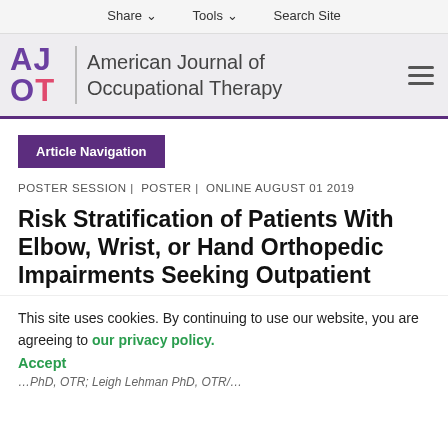Share  Tools  Search Site
[Figure (logo): AJOT - American Journal of Occupational Therapy journal header logo with navigation hamburger menu]
Article Navigation
POSTER SESSION |  POSTER |  ONLINE AUGUST 01 2019
Risk Stratification of Patients With Elbow, Wrist, or Hand Orthopedic Impairments Seeking Outpatient Therapy Services
This site uses cookies. By continuing to use our website, you are agreeing to our privacy policy. Accept